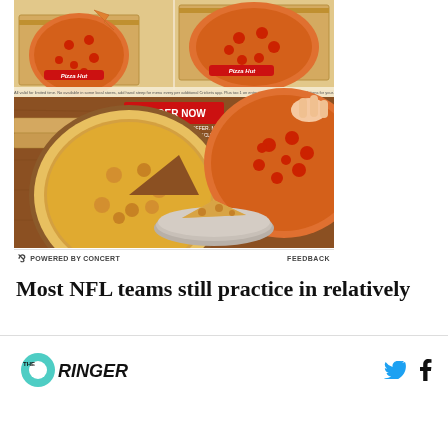[Figure (photo): Pizza Hut advertisement showing pizzas in boxes and on wooden boards, with an 'ORDER NOW' red button overlay. Fine print text at top and bottom of ad image.]
G POWERED BY CONCERT    FEEDBACK
Most NFL teams still practice in relatively
[Figure (logo): The Ringer logo with teal circle and site name, plus Twitter and Facebook social icons]
THE RINGER